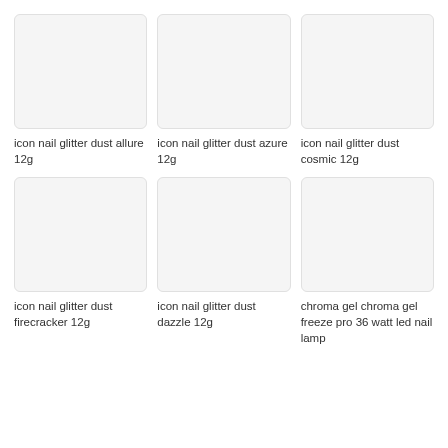[Figure (photo): Product image placeholder for icon nail glitter dust allure 12g]
icon nail glitter dust allure 12g
[Figure (photo): Product image placeholder for icon nail glitter dust azure 12g]
icon nail glitter dust azure 12g
[Figure (photo): Product image placeholder for icon nail glitter dust cosmic 12g]
icon nail glitter dust cosmic 12g
[Figure (photo): Product image placeholder for icon nail glitter dust firecracker 12g]
icon nail glitter dust firecracker 12g
[Figure (photo): Product image placeholder for icon nail glitter dust dazzle 12g]
icon nail glitter dust dazzle 12g
[Figure (photo): Product image placeholder for chroma gel chroma gel freeze pro 36 watt led nail lamp]
chroma gel chroma gel freeze pro 36 watt led nail lamp